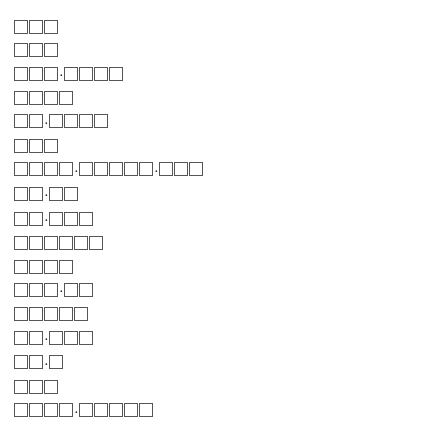□□□
□□□
□□□·□□□□
□□□□
□□·□□□□
□□□
□□□□·□□□□□·□□□
□□·□□
□□·□□□
□□□□□□
□□□□
□□□·□□
□□□□□
□□·□□□
□□·□
□□□
□□□□·□□□□□